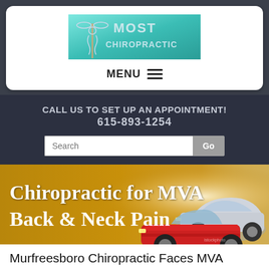[Figure (logo): Most Chiropractic logo on teal/aqua background with caduceus symbol]
MENU ≡
CALL US TO SET UP AN APPOINTMENT!
615-893-1254
[Figure (screenshot): Search bar with 'Search' placeholder text and 'Go' button]
[Figure (photo): Chiropractic for MVA Back & Neck Pain — banner image with two cars (red convertible and silver sedan) and golden/brown gradient background]
Murfreesboro Chiropractic Faces MVA Related Back Pain